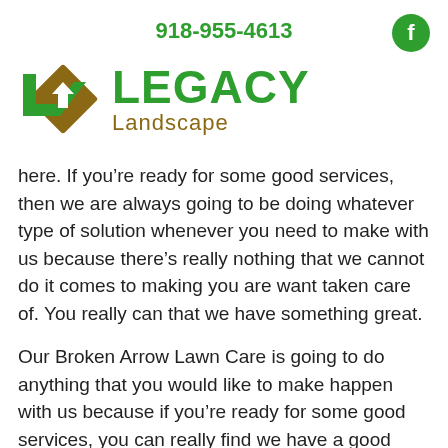918-955-4613
[Figure (logo): Legacy Landscape logo with green and brown diamond/checkmark icon and green LEGACY text with brown Landscape subtitle]
here. If you’re ready for some good services, then we are always going to be doing whatever type of solution whenever you need to make with us because there’s really nothing that we cannot do it comes to making you are want taken care of. You really can that we have something great.
Our Broken Arrow Lawn Care is going to do anything that you would like to make happen with us because if you’re ready for some good services, you can really find we have a good services because we can make sure that you